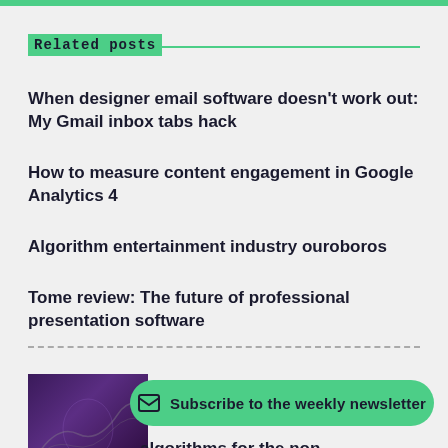Related posts
When designer email software doesn't work out: My Gmail inbox tabs hack
How to measure content engagement in Google Analytics 4
Algorithm entertainment industry ouroboros
Tome review: The future of professional presentation software
[Figure (photo): Thumbnail image with dark purple background showing a person or scene, partially visible at bottom left of page]
Subscribe to the weekly newsletter
algorithms for the non-mathematically oriented